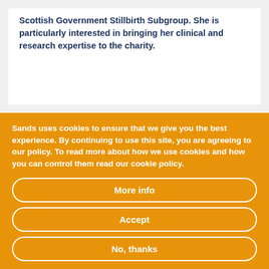Scottish Government Stillbirth Subgroup. She is particularly interested in bringing her clinical and research expertise to the charity.
Sands uses cookies to ensure that we give you the best experience. By continuing to use this site, you are agreeing to our policy. To read more about how we use cookies and how you can control them read our cookie policy.
More info
Accept
No, thanks